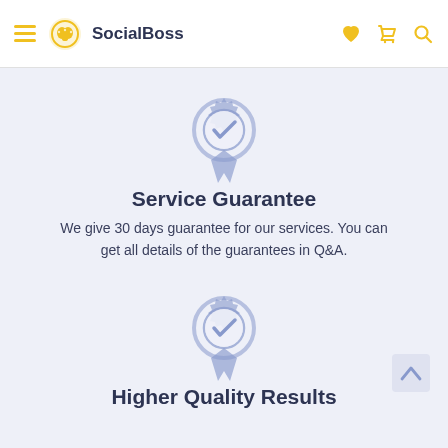SocialBoss
[Figure (illustration): Badge/award icon with checkmark, steel blue color, service guarantee]
Service Guarantee
We give 30 days guarantee for our services. You can get all details of the guarantees in Q&A.
[Figure (illustration): Badge/award icon with checkmark, steel blue color, higher quality results]
Higher Quality Results